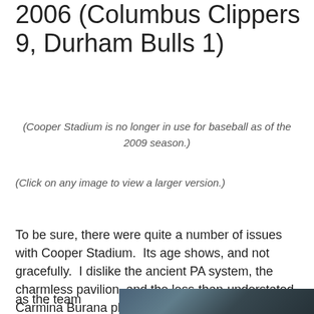2006 (Columbus Clippers 9, Durham Bulls 1)
(Cooper Stadium is no longer in use for baseball as of the 2009 season.)
(Click on any image to view a larger version.)
To be sure, there were quite a number of issues with Cooper Stadium.  Its age shows, and not gracefully.  I dislike the ancient PA system, the charmless pavilion, and the less-than-understated Carmina Burana playing
as the team
[Figure (photo): Partial view of a crowd photo at a baseball game]